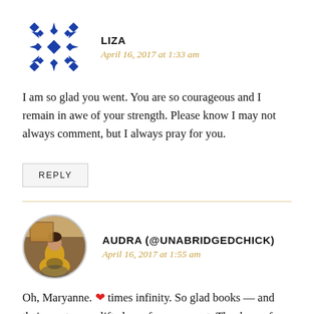[Figure (illustration): Circular avatar with blue and white geometric snowflake/diamond pattern for user Liza]
LIZA
April 16, 2017 at 1:33 am
I am so glad you went. You are so courageous and I remain in awe of your strength. Please know I may not always comment, but I always pray for you.
REPLY
[Figure (photo): Circular avatar photo of Audra (@UnabridgedChick), showing a person in front of a painting]
AUDRA (@UNABRIDGEDCHICK)
April 16, 2017 at 1:55 am
Oh, Maryanne. ❤ times infinity. So glad books — and their creators — lifted you for a moment. Thank you for continuing to share with all of us.